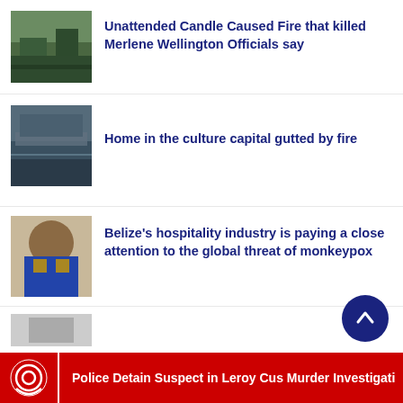Unattended Candle Caused Fire that killed Merlene Wellington Officials say
[Figure (photo): Aerial or outdoor photo related to fire/scene]
Home in the culture capital gutted by fire
[Figure (photo): Photo of fire-damaged building]
Belize's hospitality industry is paying a close attention to the global threat of monkeypox
[Figure (photo): Photo of a man in blue uniform]
[Figure (photo): Partial thumbnail of fourth news item]
Police Detain Suspect in Leroy Cus Murder Investigati